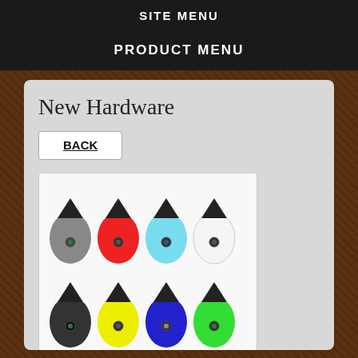SITE MENU
PRODUCT MENU
New Hardware
BACK
[Figure (photo): Eight vape pod devices arranged in two rows of four, each with a black top and different colored bodies: row 1 - grey, red, light blue, white; row 2 - black, yellow, blue, green]
Mouseover to zoom or click to enlarge
Add To Favorites